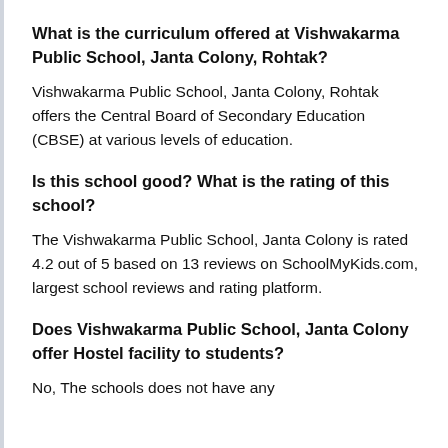What is the curriculum offered at Vishwakarma Public School, Janta Colony, Rohtak?
Vishwakarma Public School, Janta Colony, Rohtak offers the Central Board of Secondary Education (CBSE) at various levels of education.
Is this school good? What is the rating of this school?
The Vishwakarma Public School, Janta Colony is rated 4.2 out of 5 based on 13 reviews on SchoolMyKids.com, largest school reviews and rating platform.
Does Vishwakarma Public School, Janta Colony offer Hostel facility to students?
No, The schools does not have any